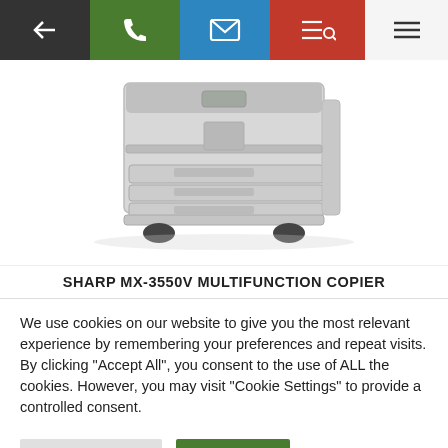Navigation bar with back, phone, email, search, and menu icons
[Figure (photo): Sharp MX-3550V multifunction copier printer, light grey, with multiple paper trays and black feet, photographed against white background]
SHARP MX-3550V MULTIFUNCTION COPIER
We use cookies on our website to give you the most relevant experience by remembering your preferences and repeat visits. By clicking "Accept All", you consent to the use of ALL the cookies. However, you may visit "Cookie Settings" to provide a controlled consent.
Cookie Settings
Accept All